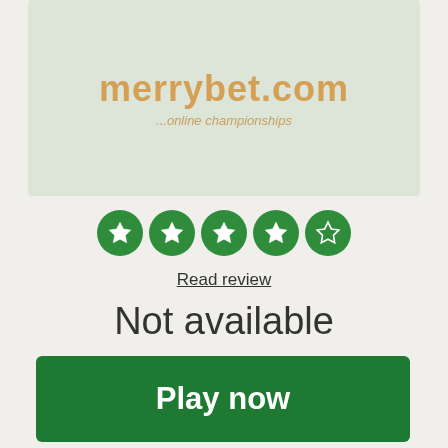[Figure (logo): MerryBet.com logo on a pale green background with tagline '...online championships']
[Figure (other): 5-star rating display: 4 filled green stars and 1 empty/outline green star]
Read review
Not available
Play now
Terms & conditions apply
38.
[Figure (logo): Partially visible logo at bottom of page on pale green background]